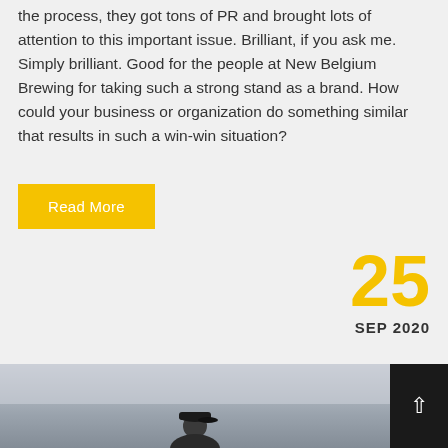the process, they got tons of PR and brought lots of attention to this important issue. Brilliant, if you ask me. Simply brilliant. Good for the people at New Belgium Brewing for taking such a strong stand as a brand. How could your business or organization do something similar that results in such a win-win situation?
Read More
25
SEP 2020
[Figure (photo): Photo strip at bottom of page showing a person wearing a dark cap, partially visible, against a light sky background. A dark scroll-to-top button with an up arrow is overlaid on the right side.]